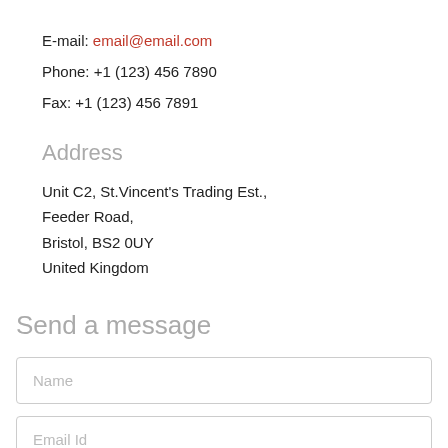E-mail: email@email.com
Phone: +1 (123) 456 7890
Fax: +1 (123) 456 7891
Address
Unit C2, St.Vincent's Trading Est.,
Feeder Road,
Bristol, BS2 0UY
United Kingdom
Send a message
Name
Email Id